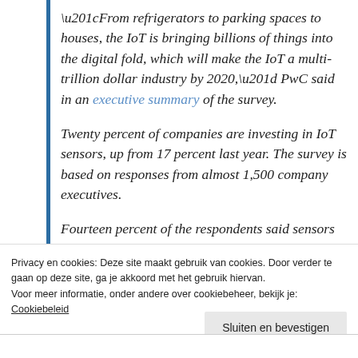“From refrigerators to parking spaces to houses, the IoT is bringing billions of things into the digital fold, which will make the IoT a multi-trillion dollar industry by 2020,” PwC said in an executive summary of the survey.
Twenty percent of companies are investing in IoT sensors, up from 17 percent last year. The survey is based on responses from almost 1,500 company executives.
Fourteen percent of the respondents said sensors are of top strategic importance to their companies in the next three to five years.
Privacy en cookies: Deze site maakt gebruik van cookies. Door verder te gaan op deze site, ga je akkoord met het gebruik hiervan. Voor meer informatie, onder andere over cookiebeheer, bekijk je: Cookiebeleid
Sluiten en bevestigen
Search